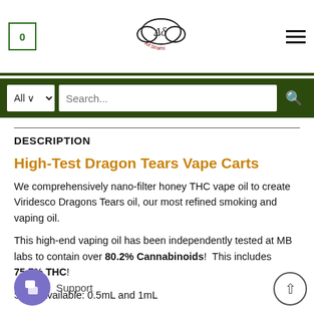0 [logo: Δδ All Strains] ☰
DESCRIPTION
High-Test Dragon Tears Vape Carts
We comprehensively nano-filter honey THC vape oil to create Viridesco Dragons Tears oil, our most refined smoking and vaping oil.
This high-end vaping oil has been independently tested at MB labs to contain over 80.2% Cannabinoids! This includes 75.7% THC!
Sizes available: 0.5mL and 1mL